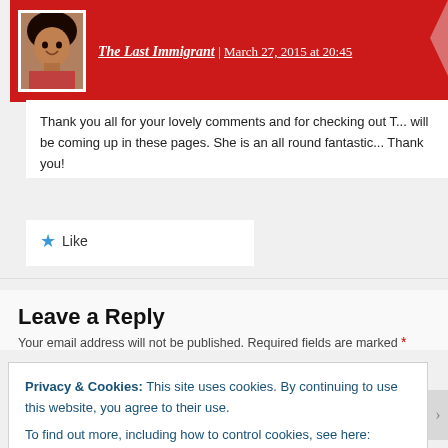The Last Immigrant | March 27, 2015 at 20:45
Thank you all for your lovely comments and for checking out T... will be coming up in these pages. She is an all round fantastic... Thank you!
Like
Leave a Reply
Your email address will not be published. Required fields are marked *
Privacy & Cookies: This site uses cookies. By continuing to use this website, you agree to their use.
To find out more, including how to control cookies, see here: Cookie Policy
Close and accept